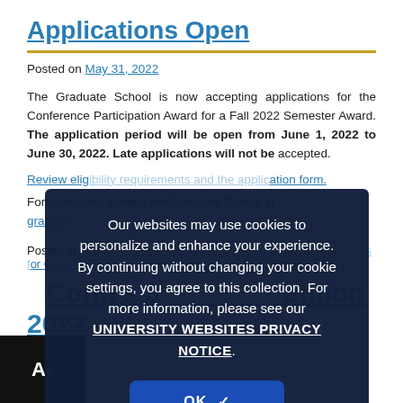Applications Open
Posted on May 31, 2022
The Graduate School is now accepting applications for the Conference Participation Award for a Fall 2022 Semester Award. The application period will be open from June 1, 2022 to June 30, 2022. Late applications will not be accepted.
Review eligibility requirements and the application form.
For questions, contact the Graduate School at gradschool@uconn.edu.
Our websites may use cookies to personalize and enhance your experience. By continuing without changing your cookie settings, you agree to this collection. For more information, please see our UNIVERSITY WEBSITES PRIVACY NOTICE.
OK ✓
Posted in Announcements for Graduate Students, Announcements for Current Students, Announcements for Faculty and Staff
UConn's 3 Minute Thesis Competition 2022